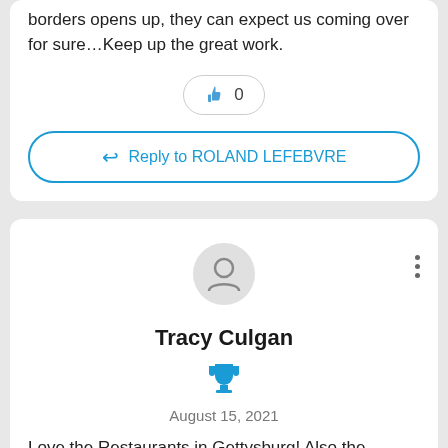borders opens up, they can expect us coming over for sure…Keep up the great work.
[Figure (illustration): Like button with thumbs up icon showing count of 0]
Reply to ROLAND LEFEBVRE
[Figure (illustration): User avatar circle with person silhouette icon and three vertical dots menu]
Tracy Culgan
[Figure (illustration): Blue trophy/achievement icon]
August 15, 2021
Love the Restaurants in Gettysburg! Also the location where of Dirty Billy's Hat...